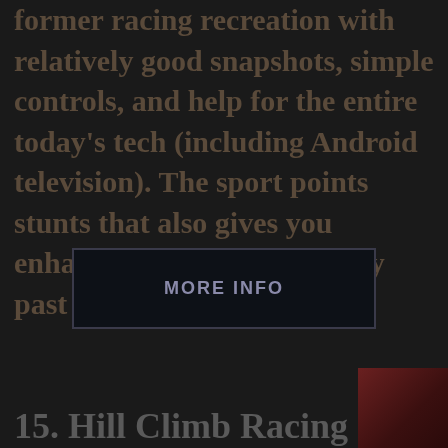former racing recreation with relatively good snapshots, simple controls, and help for the entire today's tech (including Android television). The sport points stunts that also gives you enhance so that you could fly past opponents.
[Figure (other): Dark button with text MORE INFO]
[Figure (photo): Small dark red thumbnail image in bottom right corner]
15. Hill Climb Racing